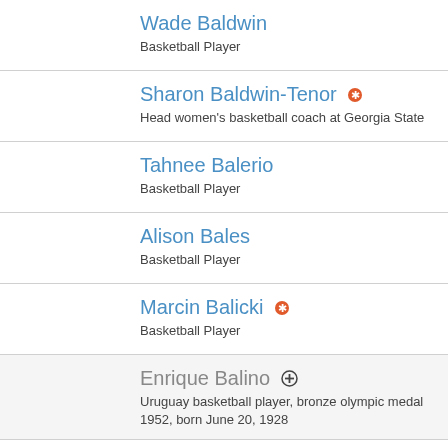Wade Baldwin
Basketball Player
Sharon Baldwin-Tenor
Head women's basketball coach at Georgia State
Tahnee Balerio
Basketball Player
Alison Bales
Basketball Player
Marcin Balicki
Basketball Player
Enrique Balino
Uruguay basketball player, bronze olympic medal 1952, born June 20, 1928
Balkan Botevgrad
Bulgarian Basketball Team
Renaldo Balkman
NBA, New York Knicks 2006
LaMelo Ball